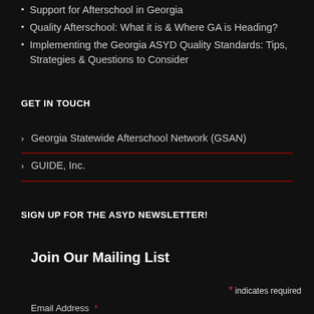Support for Afterschool in Georgia
Quality Afterschool: What it is & Where GA is Heading?
Implementing the Georgia ASYD Quality Standards: Tips, Strategies & Questions to Consider
GET IN TOUCH
Georgia Statewide Afterschool Network (GSAN)
GUIDE, Inc.
SIGN UP FOR THE ASYD NEWSLETTER!
Join Our Mailing List
* indicates required
Email Address *